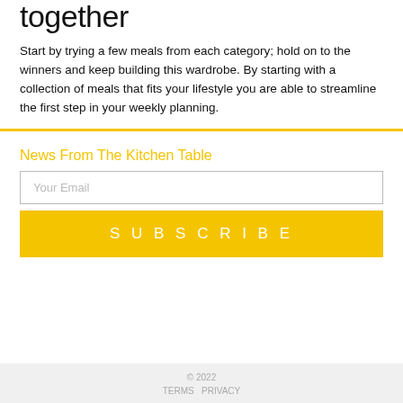together
Start by trying a few meals from each category; hold on to the winners and keep building this wardrobe. By starting with a collection of meals that fits your lifestyle you are able to streamline the first step in your weekly planning.
News From The Kitchen Table
Your Email
SUBSCRIBE
© 2022
TERMS PRIVACY